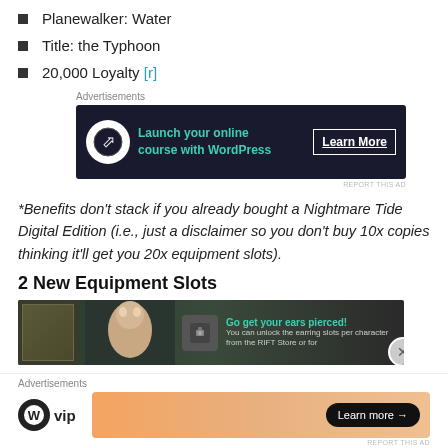Planewalker: Water
Title: the Typhoon
20,000 Loyalty [r]
[Figure (other): Advertisement banner: Launch your online course with WordPress. Learn More button.]
*Benefits don't stack if you already bought a Nightmare Tide Digital Edition (i.e., just a disclaimer so you don't buy 10x copies thinking it'll get you 20x equipment slots).
2 New Equipment Slots
[Figure (screenshot): Game screenshot showing character and earring slot unlock UI with text: Go get your ears pierced! You can unlock the earring slots per character from the RIFT Store or for...]
[Figure (other): Bottom advertisement: WordPress VIP logo and a gradient banner with Learn more arrow button.]